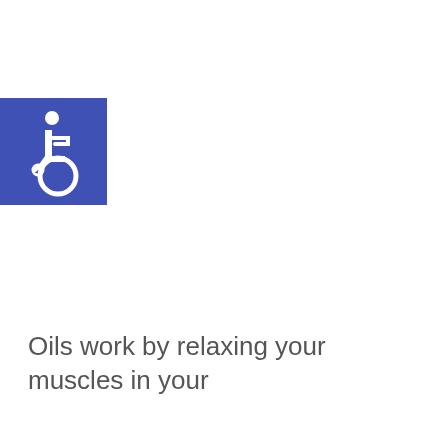[Figure (logo): International Symbol of Access (wheelchair accessibility icon) — white wheelchair figure on a blue square background]
Oils work by relaxing your muscles in your